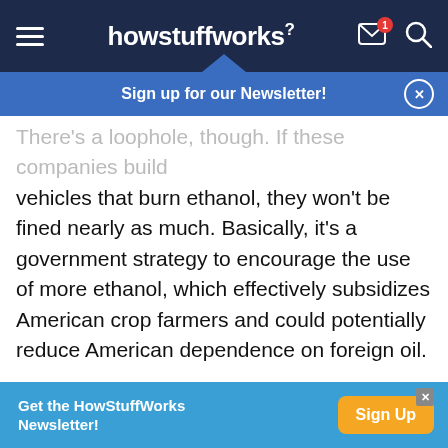howstuffworks
Sign up for our Newsletter!
There's a loophole, though. If these companies build vehicles that burn ethanol, they won't be fined nearly as much. Basically, it's a government strategy to encourage the use of more ethanol, which effectively subsidizes American crop farmers and could potentially reduce American dependence on foreign oil.
As for the flex engines themselves, well, they're a mature technology that requires zero skills or
Get the HowStuffWorks Newsletter!